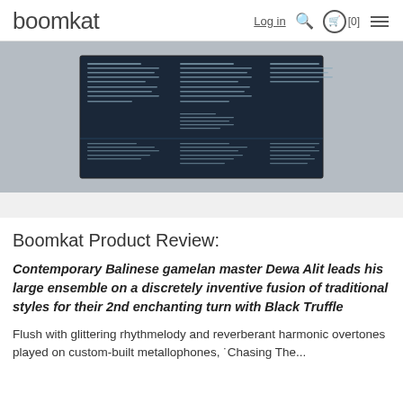boomkat  Log in  [0]
[Figure (photo): A trifold booklet or album liner notes spread open, showing dark navy blue pages with white text columns, displayed against a light grey background.]
Boomkat Product Review:
Contemporary Balinese gamelan master Dewa Alit leads his large ensemble on a discretely inventive fusion of traditional styles for their 2nd enchanting turn with Black Truffle
Flush with glittering rhythmelody and reverberant harmonic overtones played on custom-built metallophones, 'Chasing The...